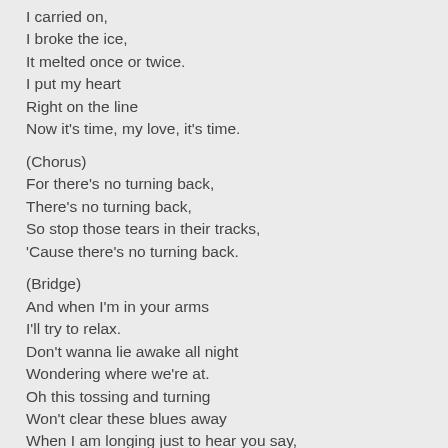I carried on,
I broke the ice,
It melted once or twice.
I put my heart
Right on the line
Now it's time, my love, it's time.
(Chorus)
For there's no turning back,
There's no turning back,
So stop those tears in their tracks,
'Cause there's no turning back.
(Bridge)
And when I'm in your arms
I'll try to relax.
Don't wanna lie awake all night
Wondering where we're at.
Oh this tossing and turning
Won't clear these blues away
When I am longing just to hear you say,